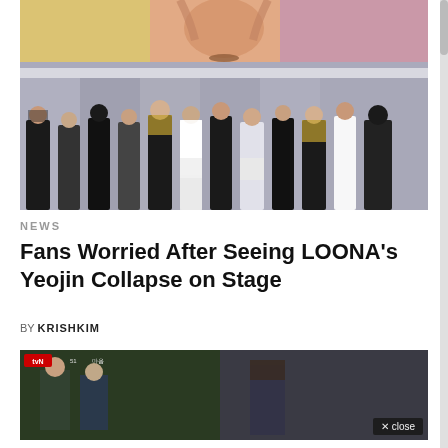[Figure (photo): K-pop girl group LOONA posed on stage with a large screen behind showing a close-up face, group of 12 members in black and white outfits standing in a row]
NEWS
Fans Worried After Seeing LOONA’s Yeojin Collapse on Stage
BY KRISHKIM
[Figure (screenshot): Video screenshot from tvN showing outdoor scene with people, tvN logo visible in top left corner, close button in bottom right]